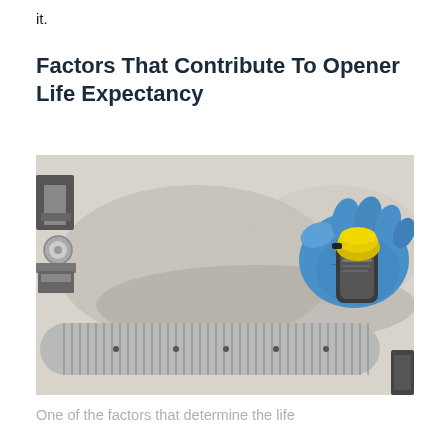it.
Factors That Contribute To Opener Life Expectancy
[Figure (photo): A gloved hand (blue latex glove) holding a yellow-capped spray can or lubricant applicator near the end of a corrugated metal spring or coil (garage door torsion spring), against a light gray/beige wall background.]
One of the factors that determine the life